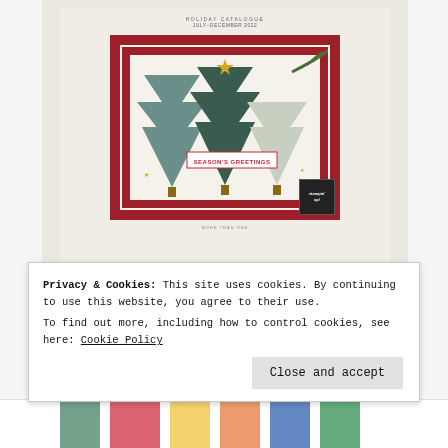[Figure (photo): Stampin' Up! holiday catalog cover showing a Christmas card with stylized trees in teal/sage on dark red background with pine branches, 'SEASON'S GREETINGS' banner, gold stars, and Stampin' Up logo. Text at top reads catalog period July-December 2022.]
NOW AVAILABLE
1 July–4 January
Privacy & Cookies: This site uses cookies. By continuing to use this website, you agree to their use.
To find out more, including how to control cookies, see here: Cookie Policy
Close and accept